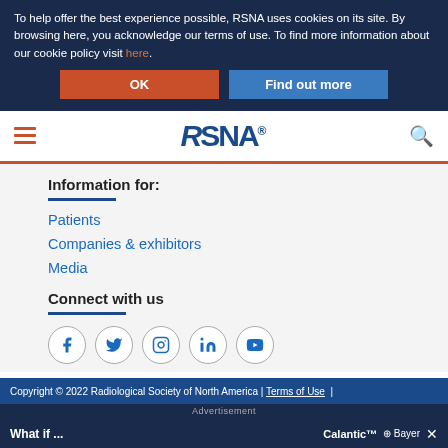To help offer the best experience possible, RSNA uses cookies on its site. By browsing here, you acknowledge our terms of use. To find more information about our cookie policy visit here.
[Figure (screenshot): OK and Find out more buttons for cookie consent]
[Figure (logo): RSNA logo with hamburger menu and search icon navigation bar]
Information for:
Patients
Companies & exhibitors
Media
Connect with us
[Figure (infographic): Social media icons: Facebook, Twitter, Instagram, LinkedIn, YouTube]
Copyright © 2022 Radiological Society of North America | Terms of Use |
[Figure (screenshot): Advertisement banner: Calantic by Bayer - What if ...]